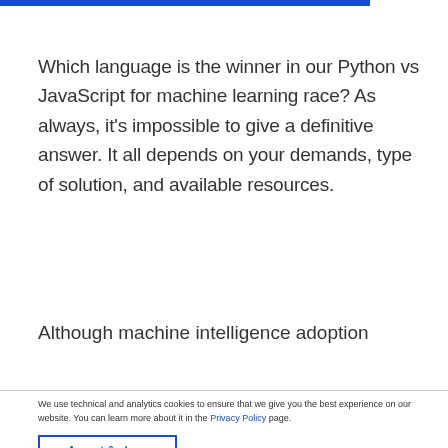Which language is the winner in our Python vs JavaScript for machine learning race? As always, it's impossible to give a definitive answer. It all depends on your demands, type of solution, and available resources.
Although machine intelligence adoption
We use technical and analytics cookies to ensure that we give you the best experience on our website. You can learn more about it in the Privacy Policy page.